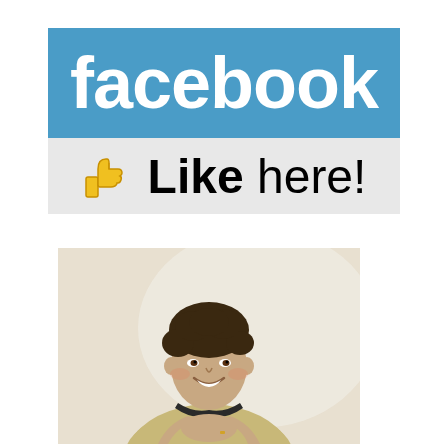[Figure (logo): Facebook logo on blue background with white bold lowercase text 'facebook']
[Figure (logo): Light gray bar with yellow thumbs-up icon and text 'Like here!' in bold black and regular black]
[Figure (photo): Portrait photo of a smiling man with dark curly hair, wearing a beige sweater with a dark scarf, leaning forward with hands clasped, against a light background]